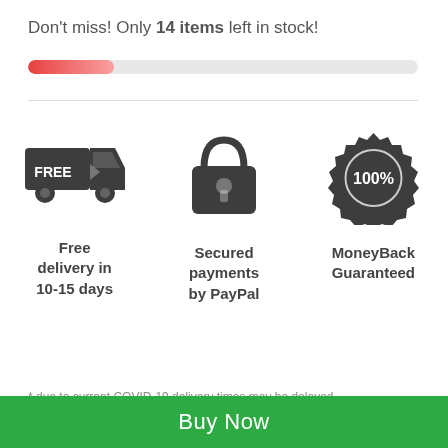Don't miss! Only 14 items left in stock!
[Figure (infographic): A horizontal progress bar showing stock level, approximately 22% filled with a red-to-pink gradient on a light grey background.]
[Figure (infographic): Three icons in a row: a delivery truck with FREE text, a padlock representing secured payments, and a badge with 100% representing money-back guarantee. Labels beneath each icon: 'Free delivery in 10-15 days', 'Secured payments by PayPal', 'MoneyBack Guaranteed'.]
* due to current COVID-19 delivery times may be delayed
Buy Now